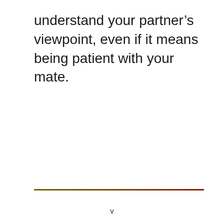understand your partner's viewpoint, even if it means being patient with your mate.
v